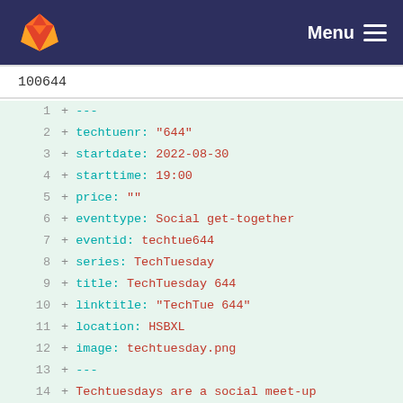[Figure (logo): GitLab fox logo on dark navy navigation bar with Menu hamburger icon]
100644
+ ---
+ techtuenr: "644"
+ startdate: 2022-08-30
+ starttime: 19:00
+ price: ""
+ eventtype: Social get-together
+ eventid: techtue644
+ series: TechTuesday
+ title: TechTuesday 644
+ linktitle: "TechTue 644"
+ location: HSBXL
+ image: techtuesday.png
+ ---
+ Techtuesdays are a social meet-up sort of thing, just walk in for a talk, club-mate, latest news, or to show off your latest pet-project ... or you can always stay home and